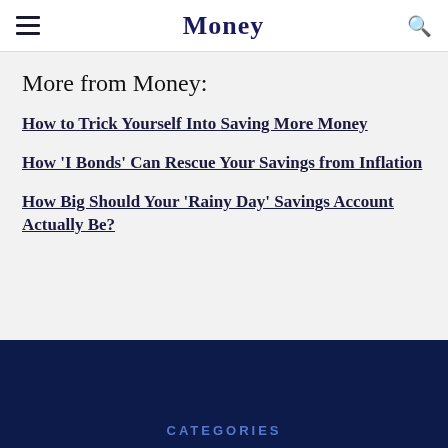Money
More from Money:
How to Trick Yourself Into Saving More Money
How 'I Bonds' Can Rescue Your Savings from Inflation
How Big Should Your 'Rainy Day' Savings Account Actually Be?
CATEGORIES